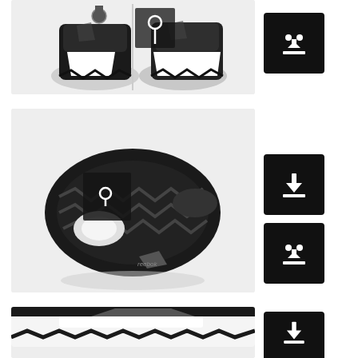[Figure (photo): Back view of black and white Reebok sneakers on light grey background]
[Figure (photo): Download/share icon button (black square with download arrow and Domino's-style symbol)]
[Figure (photo): Bottom/sole view of black and white Reebok sneakers with zoom overlay icon, on light grey background]
[Figure (photo): Download icon button (black square with downward arrow)]
[Figure (photo): Share/export icon button (black square with domino-style share symbol)]
[Figure (photo): Partial view of black and white Reebok sneaker side/top, cropped, on light background]
[Figure (photo): Partially visible black download/action button at bottom right]